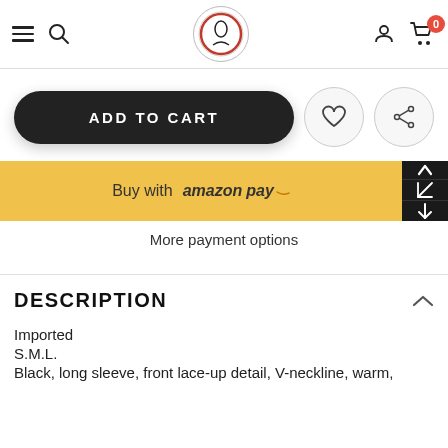Navigation header with hamburger menu, search icon, store logo, user icon, and cart with badge 0
ADD TO CART
Buy with amazon pay
More payment options
DESCRIPTION
Imported
S.M.L.
Black, long sleeve, front lace-up detail, V-neckline, warm,